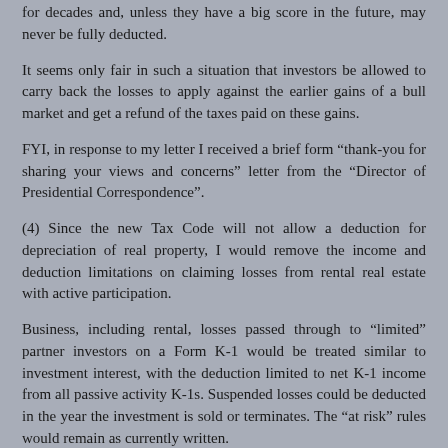for decades and, unless they have a big score in the future, may never be fully deducted.
It seems only fair in such a situation that investors be allowed to carry back the losses to apply against the earlier gains of a bull market and get a refund of the taxes paid on these gains.
FYI, in response to my letter I received a brief form “thank-you for sharing your views and concerns” letter from the “Director of Presidential Correspondence”.
(4) Since the new Tax Code will not allow a deduction for depreciation of real property, I would remove the income and deduction limitations on claiming losses from rental real estate with active participation.
Business, including rental, losses passed through to “limited” partner investors on a Form K-1 would be treated similar to investment interest, with the deduction limited to net K-1 income from all passive activity K-1s. Suspended losses could be deducted in the year the investment is sold or terminates. The “at risk” rules would remain as currently written.